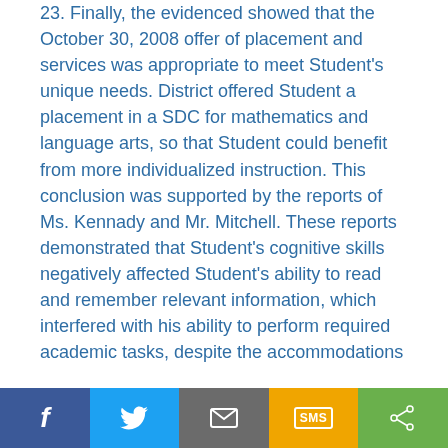23. Finally, the evidenced showed that the October 30, 2008 offer of placement and services was appropriate to meet Student's unique needs. District offered Student a placement in a SDC for mathematics and language arts, so that Student could benefit from more individualized instruction. This conclusion was supported by the reports of Ms. Kennady and Mr. Mitchell. These reports demonstrated that Student's cognitive skills negatively affected Student's ability to read and remember relevant information, which interfered with his ability to perform required academic tasks, despite the accommodations
[Figure (other): Social sharing bar with Facebook, Twitter, Email, SMS, and Share buttons]